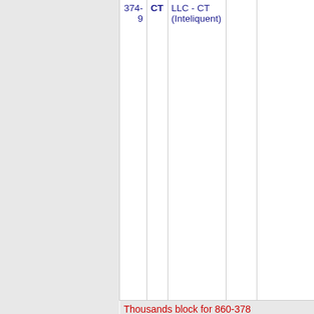| Number | State | Carrier | Code | Name |
| --- | --- | --- | --- | --- |
| 374-
9 | CT | LLC - CT
(Inteliquent) |  |  |
| Thousands block for 860-378 |  |  |  |  |
| 860-
378-
2 | CT | ONVOY,
LLC - CT
(Inteliquent) | 639C | SOUTHING... |
| Thousands block for 860-382 |  |  |  |  |